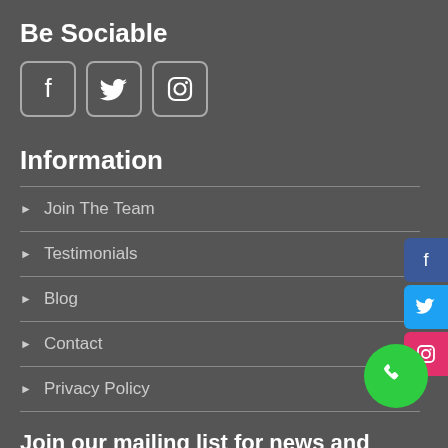Be Sociable
[Figure (illustration): Facebook, Twitter, and Instagram social media icons in white on bordered boxes]
Information
Join The Team
Testimonials
Blog
Contact
Privacy Policy
[Figure (illustration): Floating social media buttons: Facebook (blue), Twitter (cyan), Instagram (pink-red) on right edge]
Join our mailing list for news and offers
First Name input field with Call Now button
[Figure (illustration): Green circle call button with phone icon]